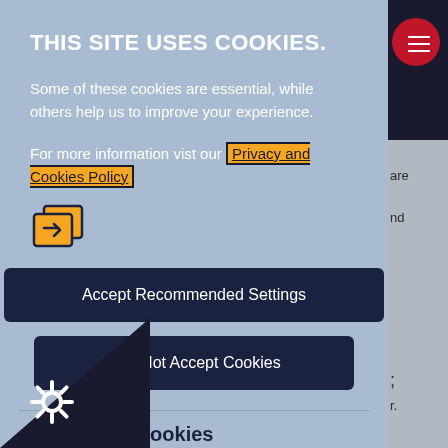THIS SITE USES COOKIES.
Some of these cookies are essential, while others help us to improve your experience.
For more information vist our Privacy and Cookies Policy
[Figure (illustration): Share/external link icon in orange and dark blue]
Accept Recommended Settings
I Do Not Accept Cookies
Necessary Cookies
ry cookies enable core functionality. These can